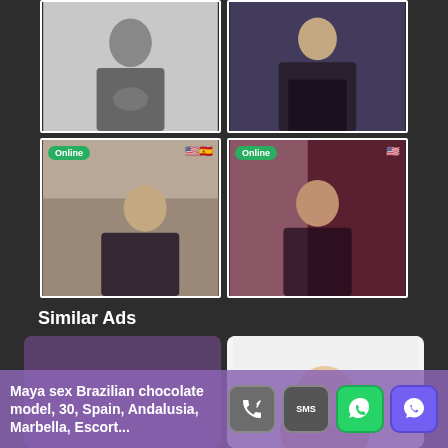[Figure (photo): Black and white photo of a young woman in a black outfit posing]
[Figure (photo): Color photo of a woman in leather outfit sitting against grey wall]
[Figure (photo): Photo of a woman in black lingerie on a bed, Online badge, US and Spain flags]
[Figure (photo): Photo of a tattooed woman in a black top in red-lit room, Online badge, US flag]
Similar Ads
[Figure (photo): Similar ad card with dark purple background (truncated)]
[Figure (photo): Similar ad card with blonde woman (truncated)]
Maya sex Brazilian chocolate model, 30, Spain, Andalusia, Marbella, Escort...